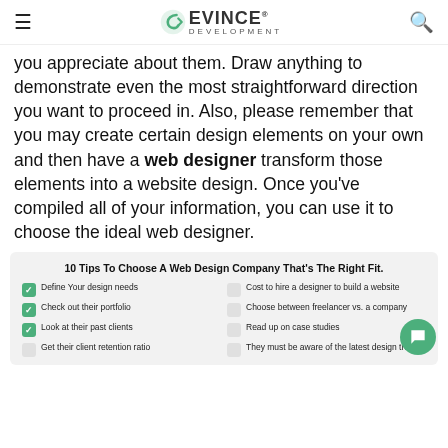Evince Development
you appreciate about them. Draw anything to demonstrate even the most straightforward direction you want to proceed in. Also, please remember that you may create certain design elements on your own and then have a web designer transform those elements into a website design. Once you've compiled all of your information, you can use it to choose the ideal web designer.
[Figure (infographic): 10 Tips To Choose A Web Design Company That's The Right Fit. A checklist graphic with two columns. Left column checked items: Define Your design needs, Check out their portfolio, Look at their past clients, Get their client retention ratio. Right column unchecked items: Cost to hire a designer to build a website, Choose between freelancer vs. a company, Read up on case studies, They must be aware of the latest design trends.]